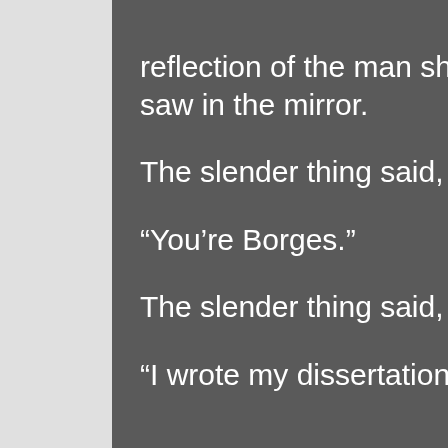reflection of the man she saw in the mirror.

The slender thing said,

“You’re Borges.”

The slender thing said,

“I wrote my dissertation